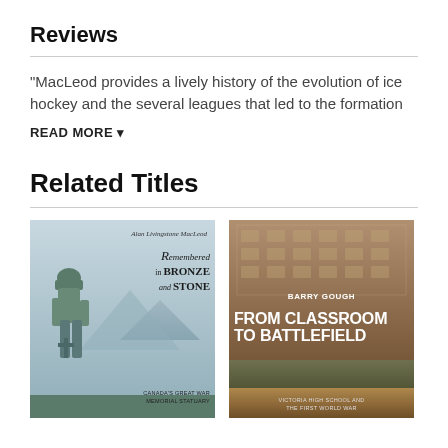Reviews
"MacLeod provides a lively history of the evolution of ice hockey and the several leagues that led to the formation
READ MORE ▾
Related Titles
[Figure (photo): Book cover of 'Remembered in Bronze and Stone' by Alan Livingstone MacLeod, featuring a statue of a WWI soldier, soft blue-green background with mountains.]
[Figure (photo): Book cover of 'From Classroom to Battlefield' by Barry Gough, featuring sepia photo of a large school building and soldiers in background, with bold white title text.]